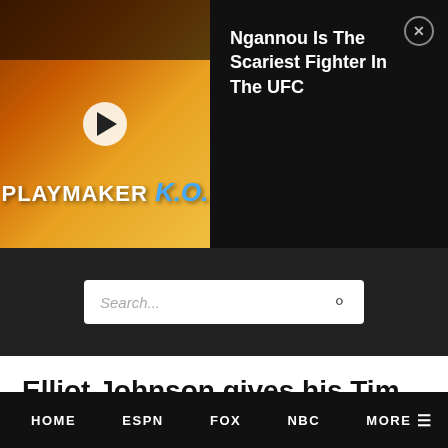[Figure (screenshot): Video thumbnail showing Playmaker K.O. with play button overlay]
Ngannou Is The Scariest Fighter In The UFC
[Figure (screenshot): Search bar with placeholder text Search... and magnifying glass icon]
Elliot Johnson gives his Tim Kurkjian impersonation
2012 ARTICLES  By Ben Koo on
HOME  ESPN  FOX  NBC  MORE